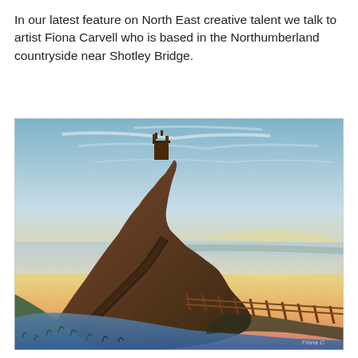In our latest feature on North East creative talent we talk to artist Fiona Carvell who is based in the Northumberland countryside near Shotley Bridge.
[Figure (illustration): A colourful painting of Lindisfarne Castle on Holy Island, Northumberland, at sunset. A rocky promontory with the castle silhouetted at the top rises from a foreground of blue-green grass and rough terrain. A wooden fence/causeway stretches into the distance to the right, with golden and pink sunset sky in the background and water on the horizon. Artist signature visible in the lower right.]